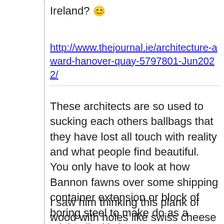Ireland? 😊
http://www.thejournal.ie/architecture-award-hanover-quay-5797801-Jun2022/
These architects are so used to sucking each others ballbags that they have lost all touch with reality and what people find beautiful.  You only have to look at how Bannon fawns over some shipping container extension or block of boring steel to make do as a minimalist kitchen counter to see how out out of touch they are.
I saw him thinking this plank of wood with holes like swiss cheese in it was some sort of